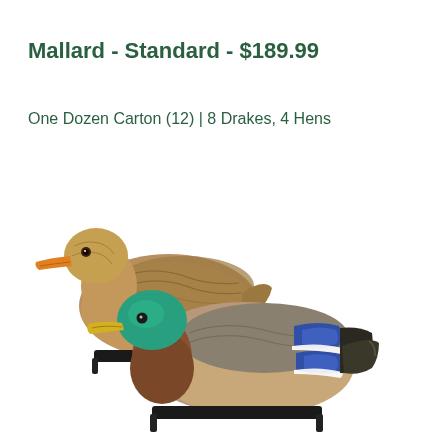Mallard - Standard - $189.99
One Dozen Carton (12) | 8 Drakes, 4 Hens
[Figure (photo): Two mallard duck decoys side by side on white background. The back duck is a hen with brown plumage and orange beak. The front duck is a drake with green head, yellow bill, brown chest, and blue speculum wing markings. Both have black plastic keel bases.]